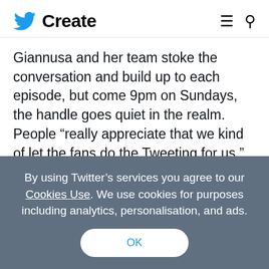Twitter Create
Giannusa and her team stoke the conversation and build up to each episode, but come 9pm on Sundays, the handle goes quiet in the realm. People “really appreciate that we kind of let the fans do the Tweeting for us.” Those fans include not just millions of viewers, but even the show’s cast members and other Hollywood stars who
By using Twitter’s services you agree to our Cookies Use. We use cookies for purposes including analytics, personalisation, and ads.